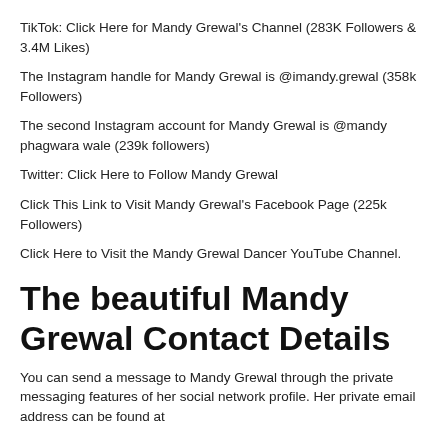TikTok: Click Here for Mandy Grewal's Channel (283K Followers & 3.4M Likes)
The Instagram handle for Mandy Grewal is @imandy.grewal (358k Followers)
The second Instagram account for Mandy Grewal is @mandy phagwara wale (239k followers)
Twitter: Click Here to Follow Mandy Grewal
Click This Link to Visit Mandy Grewal's Facebook Page (225k Followers)
Click Here to Visit the Mandy Grewal Dancer YouTube Channel.
The beautiful Mandy Grewal Contact Details
You can send a message to Mandy Grewal through the private messaging features of her social network profile. Her private email address can be found at